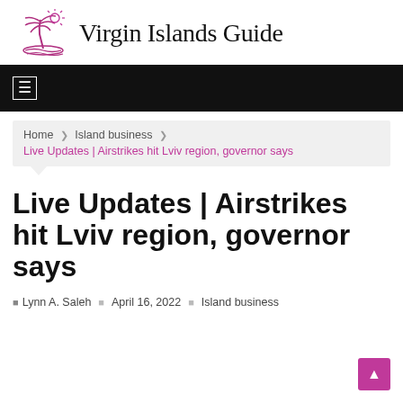[Figure (logo): Virgin Islands Guide logo: palm tree and sun illustration in purple/pink outline style]
Virgin Islands Guide
Navigation bar (black background with menu icon)
Home  ❯  Island business  ❯  Live Updates | Airstrikes hit Lviv region, governor says
Live Updates | Airstrikes hit Lviv region, governor says
Lynn A. Saleh  April 16, 2022  Island business